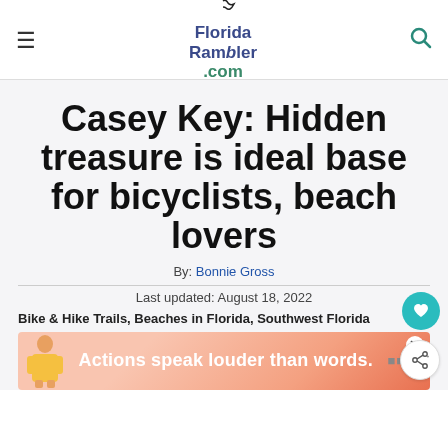Florida Rambler .com
Casey Key: Hidden treasure is ideal base for bicyclists, beach lovers
By: Bonnie Gross
Last updated: August 18, 2022
Bike & Hike Trails, Beaches in Florida, Southwest Florida
[Figure (infographic): Advertisement banner with text 'Actions speak louder than words.' on a coral/orange gradient background with a figure illustration]